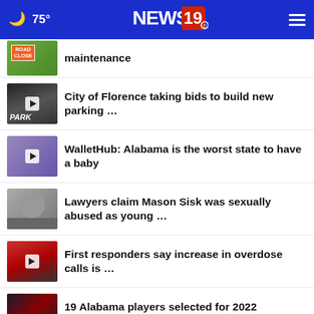75° NEWS 19
maintenance
City of Florence taking bids to build new parking …
WalletHub: Alabama is the worst state to have a baby
Lawyers claim Mason Sisk was sexually abused as young …
First responders say increase in overdose calls is …
19 Alabama players selected for 2022 Preseason Coaches …
Helicopter that crashed in Marion …